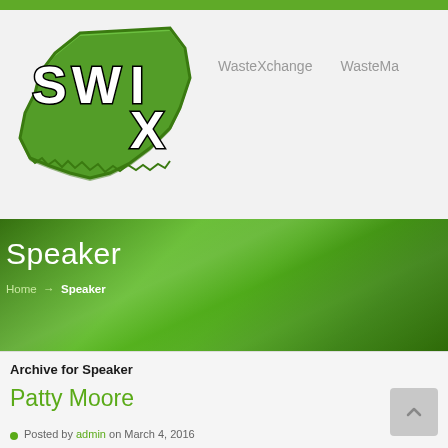[Figure (logo): SWIX logo — green map shape of South Australia with block letters S, W, I, X in white with black outlines]
WasteXchange    WasteMa...
Speaker
Home → Speaker
Archive for Speaker
Patty Moore
Posted by admin on March 4, 2016